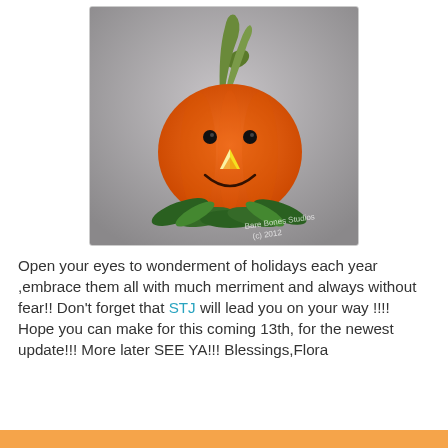[Figure (photo): A needle-felted orange pumpkin character with a green stem hat, candy corn nose, black bead eyes, a stitched smile, and green leaf ruff at the base. Photographed against a gray gradient background. Watermark reads 'Bare Bones Studios (c) 2012'.]
Open your eyes to wonderment of holidays each year ,embrace them all with much merriment and always without fear!! Don't forget that STJ will lead you on your way !!!! Hope you can make for this coming 13th, for the newest update!!! More later SEE YA!!! Blessings,Flora